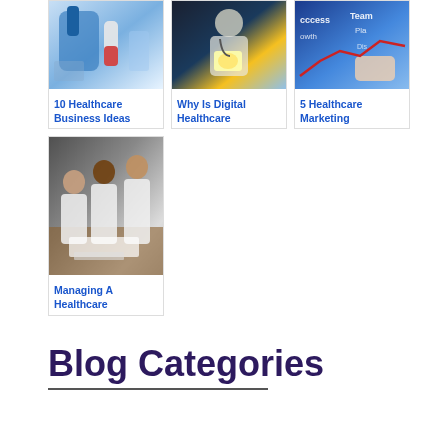[Figure (photo): Laboratory scene with blue-gloved hands holding red liquid in test tube]
10 Healthcare Business Ideas
[Figure (photo): Doctor in white coat using digital tablet with glowing light]
Why Is Digital Healthcare
[Figure (photo): Blue background with words Success, Team, Plan, Growth, Dis... written with red line graph]
5 Healthcare Marketing
[Figure (photo): Two doctors in white coats and a patient looking at documents on a table]
Managing A Healthcare
Blog Categories